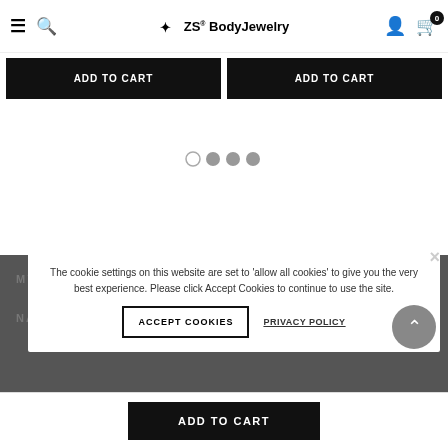ZS BodyJewelry — navigation header with hamburger menu, search, logo, user icon, and cart (0)
ADD TO CART
ADD TO CART
[Figure (other): Carousel pagination dots: one open circle and three filled grey circles]
MY ACCOUNT
NAVIGATE
The cookie settings on this website are set to 'allow all cookies' to give you the very best experience. Please click Accept Cookies to continue to use the site.
ACCEPT COOKIES
PRIVACY POLICY
ADD TO CART